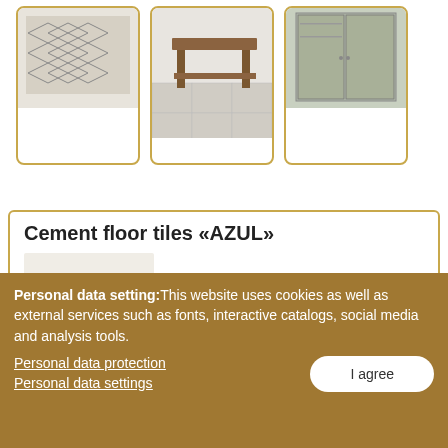[Figure (photo): Three product thumbnail images in gold-bordered rounded boxes: a patterned rug, a wooden table on tiled floor, and a cabinet/wardrobe]
Cement floor tiles «AZUL»
[Figure (photo): Product image placeholder (light beige/cream rectangle) with product codes 106709-002 and 106709-004]
Personal data setting: This website uses cookies as well as external services such as fonts, interactive catalogs, social media and analysis tools.
Personal data protection
Personal data settings